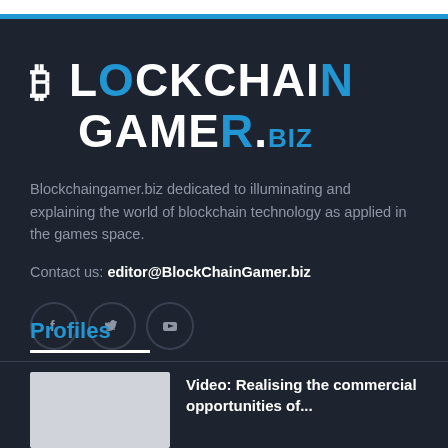[Figure (logo): Blockchain Gamer .biz logo with Bitcoin symbol, white bold uppercase text and blue accent letters]
Blockchaingamer.biz dedicated to illuminating and explaining the world of blockchain technology as applied in the games space.
Contact us: editor@BlockChainGamer.biz
[Figure (other): Three circular social media icon buttons: Facebook (f), Twitter (bird), YouTube (play button)]
Profiles
Video: Realising the commercial opportunities of...